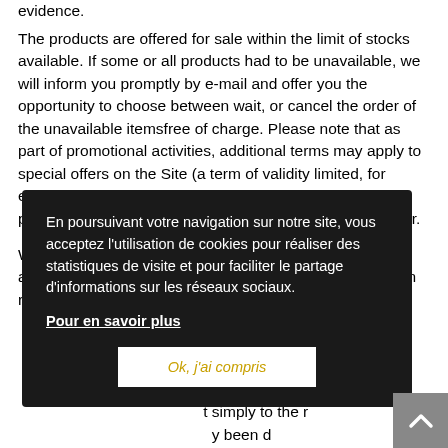evidence.
The products are offered for sale within the limit of stocks available. If some or all products had to be unavailable, we will inform you promptly by e-mail and offer you the opportunity to choose between wait, or cancel the order of the unavailable itemsfree of charge. Please note that as part of promotional activities, additional terms may apply to special offers on the Site (a term of validity limited, for example). These specific conditions will be explicitly provided and identified prior to the registration of the order.
We reserve the right to refuse an order or subject to additional c... e information r... s provided is m... rder comes f... dy exist. If t... within a p... efusal of an o... t simply to the r... y been d... rding our o... rejected by mistake, please contact us by e-mail at the address
En poursuivant votre navigation sur notre site, vous acceptez l'utilisation de cookies pour réaliser des statistiques de visite et pour faciliter le partage d'informations sur les réseaux sociaux.
Pour en savoir plus
Ok, j'ai compris